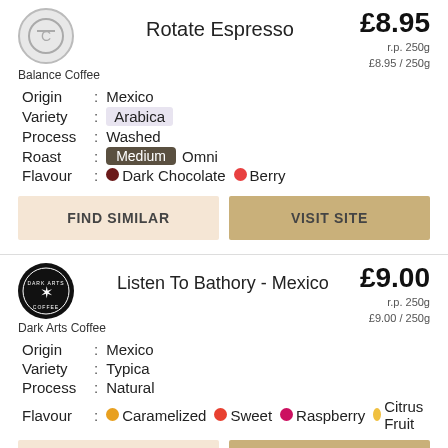Rotate Espresso
Balance Coffee
£8.95 / 250g
Origin : Mexico
Variety : Arabica
Process : Washed
Roast : Medium Omni
Flavour : Dark Chocolate   Berry
FIND SIMILAR
VISIT SITE
Listen To Bathory - Mexico
Dark Arts Coffee
£9.00 / 250g
Origin : Mexico
Variety : Typica
Process : Natural
Flavour : Caramelized   Sweet   Raspberry   Citrus Fruit